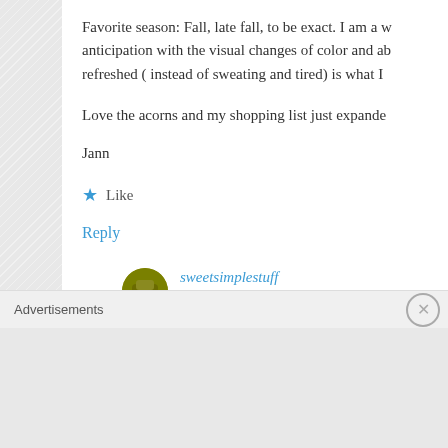Favorite season: Fall, late fall, to be exact. I am a w... anticipation with the visual changes of color and ab... refreshed ( instead of sweating and tired) is what I...
Love the acorns and my shopping list just expande...
Jann
Like
Reply
sweetsimplestuff
OCTOBER 14, 2011 AT 8:58 PM
Advertisements